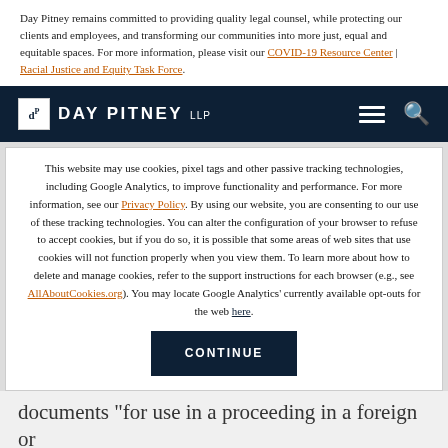Day Pitney remains committed to providing quality legal counsel, while protecting our clients and employees, and transforming our communities into more just, equal and equitable spaces. For more information, please visit our COVID-19 Resource Center | Racial Justice and Equity Task Force.
DAY PITNEY LLP
This website may use cookies, pixel tags and other passive tracking technologies, including Google Analytics, to improve functionality and performance. For more information, see our Privacy Policy. By using our website, you are consenting to our use of these tracking technologies. You can alter the configuration of your browser to refuse to accept cookies, but if you do so, it is possible that some areas of web sites that use cookies will not function properly when you view them. To learn more about how to delete and manage cookies, refer to the support instructions for each browser (e.g., see AllAboutCookies.org). You may locate Google Analytics' currently available opt-outs for the web here.
CONTINUE
documents "for use in a proceeding in a foreign or